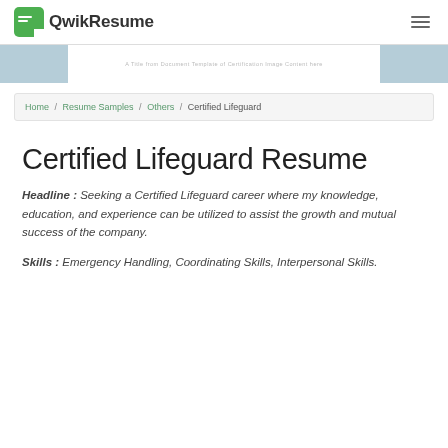QwikResume
[Figure (screenshot): Blurred banner strip showing a resume preview with light blue side panels]
Home / Resume Samples / Others / Certified Lifeguard
Certified Lifeguard Resume
Headline : Seeking a Certified Lifeguard career where my knowledge, education, and experience can be utilized to assist the growth and mutual success of the company.
Skills : Emergency Handling, Coordinating Skills, Interpersonal Skills.